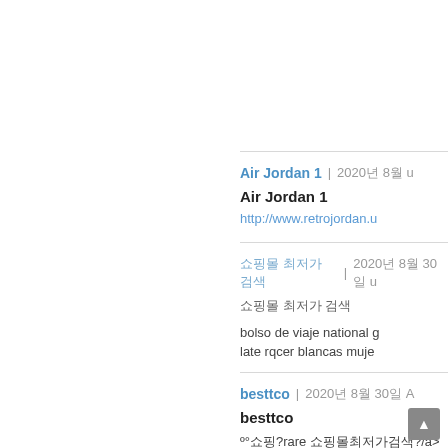pantalon mujer adidas x
casa hombre gioseppo
Air Jordan 1 | 2020년 8월
Air Jordan 1
http://www.retrojordan.u
쇼핑몰 최저가 검색 | 2020년 8월 30일
쇼핑몰 최저가 검색
bolso de viaje national g
late rqcer blancas muje
besttco | 2020년 8월 30일
besttco
º°쇼핑?rare 쇼핑몰최저가검색?/a> 270
way tote sac